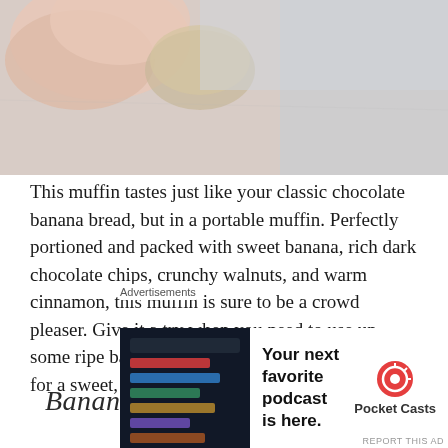[Figure (photo): Close-up photo of a hand holding a muffin, with a light gray and beige background]
This muffin tastes just like your classic chocolate banana bread, but in a portable muffin. Perfectly portioned and packed with sweet banana, rich dark chocolate chips, crunchy walnuts, and warm cinnamon, this muffin is sure to be a crowd pleaser. Give it a try when you need to use up some ripe bananas or on your next meal prep day for a sweet, yet healthy treat!
Banana Chocolate Chip Crumble
[Figure (illustration): Advertisement overlay with Pocket Casts podcast app promotion. Shows app screenshot on dark background with text 'Your next favorite podcast is here.' and Pocket Casts logo.]